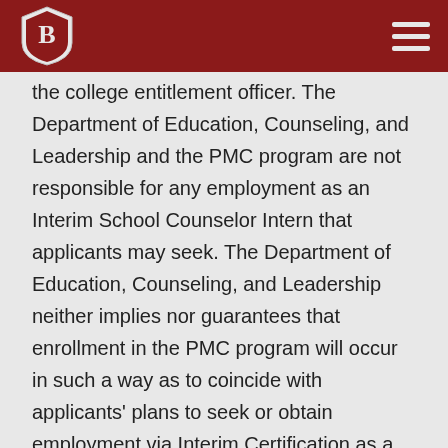Bradley University - logo and navigation
the college entitlement officer. The Department of Education, Counseling, and Leadership and the PMC program are not responsible for any employment as an Interim School Counselor Intern that applicants may seek. The Department of Education, Counseling, and Leadership neither implies nor guarantees that enrollment in the PMC program will occur in such a way as to coincide with applicants' plans to seek or obtain employment via Interim Certification as a School Counselor Intern.
Transfer Credits